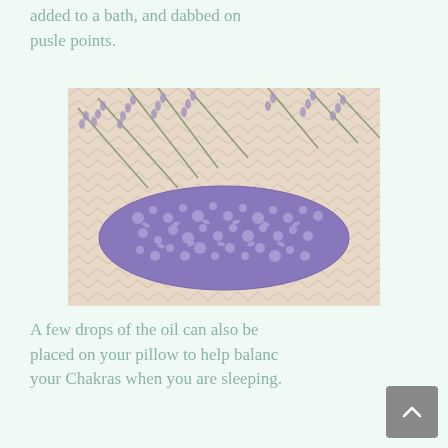added to a bath, and dabbed on pusle points.
[Figure (photo): A purple floral-patterned eye pillow or sachet resting on a chevron-patterned surface with sprigs of lavender arranged around it.]
A few drops of the oil can also be placed on your pillow to help balance your Chakras when you are sleeping.